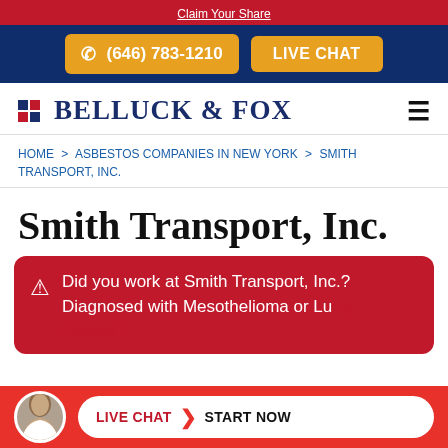Claim Your Share
(646) 783-1210  LIVE CHAT
[Figure (logo): Belluck & Fox law firm logo with grid icon]
HOME > ASBESTOS COMPANIES IN NEW YORK > SMITH TRANSPORT, INC.
Smith Transport, Inc.
Did you work at Smith Transport, Inc.? Diagnosed with Mesothelioma or Lung Cancer?
LIVE CHAT  START NOW